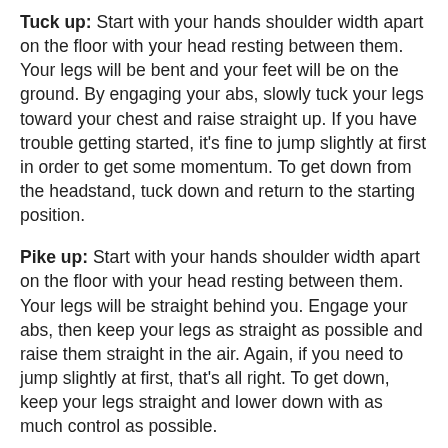Tuck up: Start with your hands shoulder width apart on the floor with your head resting between them. Your legs will be bent and your feet will be on the ground. By engaging your abs, slowly tuck your legs toward your chest and raise straight up. If you have trouble getting started, it's fine to jump slightly at first in order to get some momentum. To get down from the headstand, tuck down and return to the starting position.
Pike up: Start with your hands shoulder width apart on the floor with your head resting between them. Your legs will be straight behind you. Engage your abs, then keep your legs as straight as possible and raise them straight in the air. Again, if you need to jump slightly at first, that's all right. To get down, keep your legs straight and lower down with as much control as possible.
Straddle up: Start with your hands shoulder width apart on the floor with your head resting between them. Your legs will be straight and straddled to either side of you. Engage your abs, then keep your legs as straight as possible and raise them together in a straddle position so that they end up together straight at the top position of the…